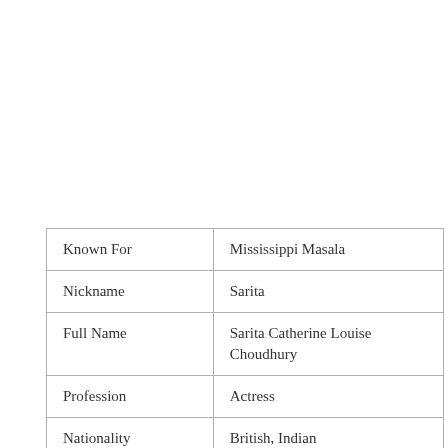|  |  |
| --- | --- |
| Known For | Mississippi Masala |
| Nickname | Sarita |
| Full Name | Sarita Catherine Louise Choudhury |
| Profession | Actress |
| Nationality | British, Indian |
| Birthplace | Blackheath, London, |